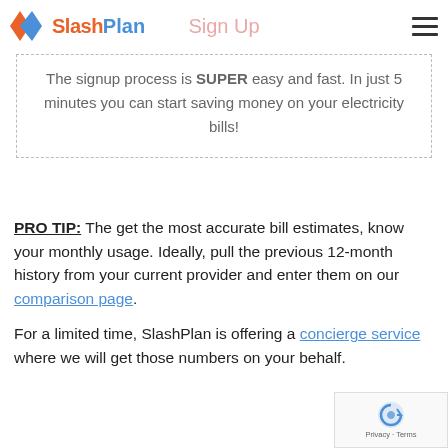Sign Up
[Figure (logo): SlashPlan logo with orange and blue diamond/arrow icon and wordmark]
The signup process is SUPER easy and fast. In just 5 minutes you can start saving money on your electricity bills!
PRO TIP: The get the most accurate bill estimates, know your monthly usage. Ideally, pull the previous 12-month history from your current provider and enter them on our comparison page.
For a limited time, SlashPlan is offering a concierge service where we will get those numbers on your behalf.